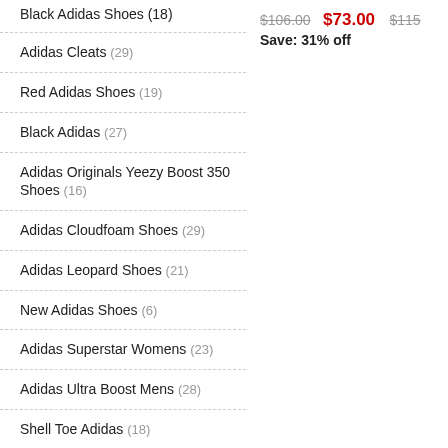Black Adidas Shoes (18)
Adidas Cleats (29)
Red Adidas Shoes (19)
Black Adidas (27)
Adidas Originals Yeezy Boost 350 Shoes (16)
Adidas Cloudfoam Shoes (29)
Adidas Leopard Shoes (21)
New Adidas Shoes (6)
Adidas Superstar Womens (23)
Adidas Ultra Boost Mens (28)
Shell Toe Adidas (18)
Adidas Womens (27)
Adidas Ultraboost Shoes (28)
Adidas Nmd R1 Womens (23)
Adidas Superstar Mens (22)
Nike Mercian Adidas (4)
$106.00 $73.00 Save: 31% off $115